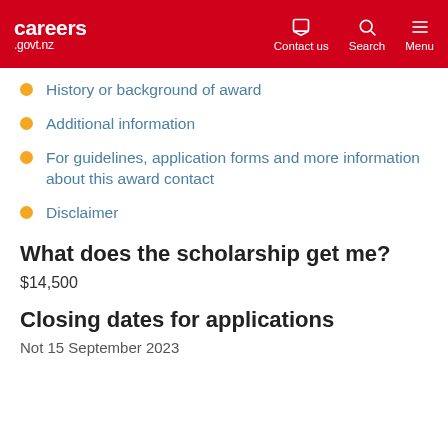careers .govt.nz — Contact us | Search | Menu
History or background of award
Additional information
For guidelines, application forms and more information about this award contact
Disclaimer
What does the scholarship get me?
$14,500
Closing dates for applications
Not 15 September 2023